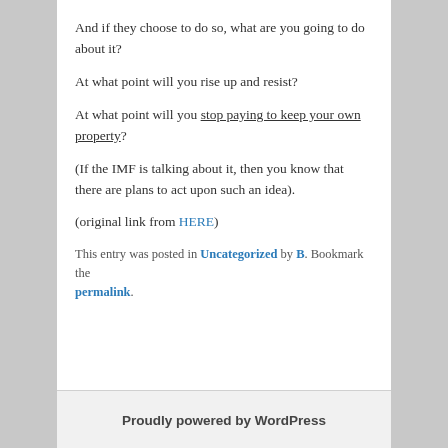And if they choose to do so, what are you going to do about it?
At what point will you rise up and resist?
At what point will you stop paying to keep your own property?
(If the IMF is talking about it, then you know that there are plans to act upon such an idea).
(original link from HERE)
This entry was posted in Uncategorized by B. Bookmark the permalink.
Proudly powered by WordPress